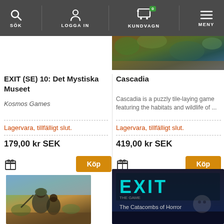SÖK | LOGGA IN | KUNDVAGN 0 | MENY
EXIT (SE) 10: Det Mystiska Museet
Kosmos Games
Lagervara, tillfälligt slut.
179,00 kr SEK
Cascadia
Cascadia is a puzzly tile-laying game featuring the habitats and wildlife of ...
Lagervara, tillfälligt slut.
419,00 kr SEK
[Figure (photo): Partial product image top right - colorful board game]
[Figure (photo): Bottom left product image - illustrated military/adventure game cover]
[Figure (photo): Bottom right - EXIT The Catacombs of Horror game box]